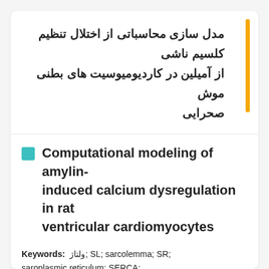مدل سازی محاسباتی از اختلال تنظیم کلسیم ناشی از آمیلین در کاردیومیوسیت های بطنی موش صحرایی
Computational modeling of amylin-induced calcium dysregulation in rat ventricular cardiomyocytes
Keywords: ولتاژ; SL; sarcolemma; SR; saroplasmic reticulum; SERCA; sarcoplasmic/endoplasmic reticulum calcium ATPase; NCX; Na+/Ca2+ exchanger; EC; excitation-contraction; AP; action potential; LCC; L-type calcium channel; HIP; human amylin transgenic; NFAT; nuclear fact...